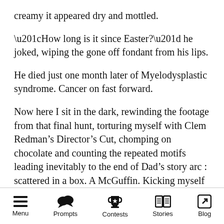creamy it appeared dry and mottled.
“How long is it since Easter?” he joked, wiping the gone off fondant from his lips.
He died just one month later of Myelodysplastic syndrome. Cancer on fast forward.
Now here I sit in the dark, rewinding the footage from that final hunt, torturing myself with Clem Redman’s Director’s Cut, chomping on chocolate and counting the repeated motifs leading inevitably to the end of Dad’s story arc : scattered in a box. A McGuffin. Kicking myself at these Easter Eggs that were found too late.
Menu | Prompts | Contests | Stories | Blog